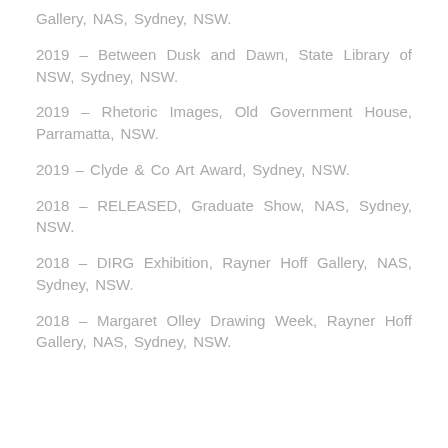Gallery, NAS, Sydney, NSW.
2019 – Between Dusk and Dawn, State Library of NSW, Sydney, NSW.
2019 – Rhetoric Images, Old Government House, Parramatta, NSW.
2019 – Clyde & Co Art Award, Sydney, NSW.
2018 – RELEASED, Graduate Show, NAS, Sydney, NSW.
2018 – DIRG Exhibition, Rayner Hoff Gallery, NAS, Sydney, NSW.
2018 – Margaret Olley Drawing Week, Rayner Hoff Gallery, NAS, Sydney, NSW.